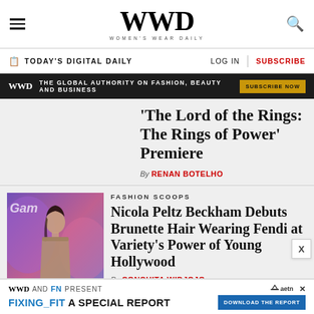WWD — Women's Wear Daily
TODAY'S DIGITAL DAILY | LOG IN | SUBSCRIBE
WWD — THE GLOBAL AUTHORITY ON FASHION, BEAUTY AND BUSINESS — SUBSCRIBE NOW
'The Lord of the Rings: The Rings of Power' Premiere
By RENAN BOTELHO
[Figure (photo): Photo of Nicola Peltz Beckham in a strapless beige/taupe dress at a purple/pink event backdrop with Variety logo]
FASHION SCOOPS
Nicola Peltz Beckham Debuts Brunette Hair Wearing Fendi at Variety's Power of Young Hollywood
By CONCHITA WIDJOJO
WWD AND FN PRESENT FIXING_FIT A SPECIAL REPORT — DOWNLOAD THE REPORT